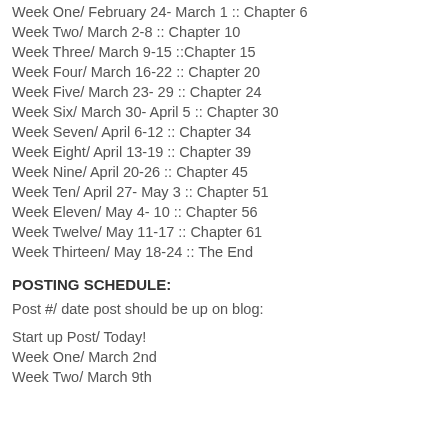Week One/ February 24- March 1 :: Chapter 6
Week Two/ March 2-8 :: Chapter 10
Week Three/ March 9-15 ::Chapter 15
Week Four/ March 16-22 :: Chapter 20
Week Five/ March 23- 29 :: Chapter 24
Week Six/ March 30- April 5 :: Chapter 30
Week Seven/ April 6-12 :: Chapter 34
Week Eight/ April 13-19 :: Chapter 39
Week Nine/ April 20-26 :: Chapter 45
Week Ten/ April 27- May 3 :: Chapter 51
Week Eleven/ May 4- 10 :: Chapter 56
Week Twelve/ May 11-17 :: Chapter 61
Week Thirteen/ May 18-24 :: The End
POSTING SCHEDULE:
Post #/ date post should be up on blog:
Start up Post/ Today!
Week One/ March 2nd
Week Two/ March 9th